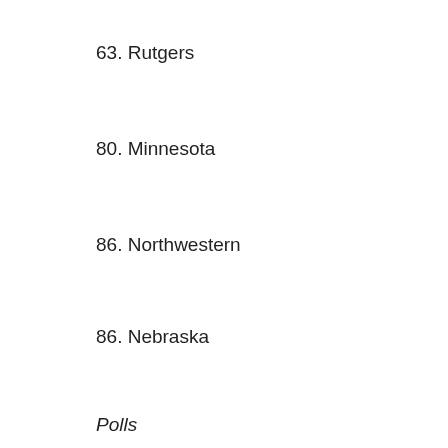63. Rutgers
80. Minnesota
86. Northwestern
86. Nebraska
Polls
Indiana is not included in the preseason AP or coaches poll top 25 and they did not receive any votes in these rankings.
Bracketology
[Figure (photo): Bloomingdale's advertisement banner with logo, tagline 'View Today's Top Deals!', a woman in a hat, and a 'SHOP NOW >' button]